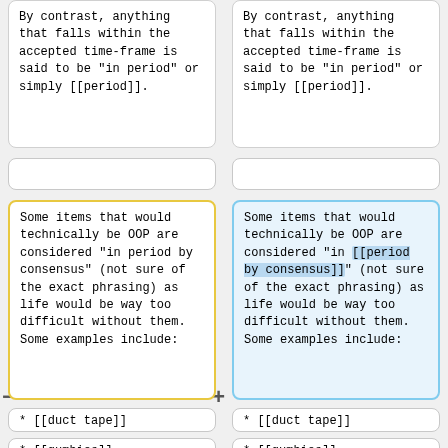By contrast, anything that falls within the accepted time-frame is said to be "in period" or simply [[period]].
By contrast, anything that falls within the accepted time-frame is said to be "in period" or simply [[period]].
Some items that would technically be OOP are considered "in period by consensus" (not sure of the exact phrasing) as life would be way too difficult without them. Some examples include:
Some items that would technically be OOP are considered "in period by consensus" (not sure of the exact phrasing) as life would be way too difficult without them. Some examples include:
* [[duct tape]]
* [[duct tape]]
* [[gumbies]]
* [[gumbies]]